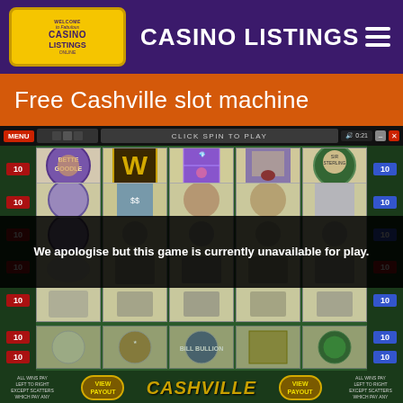CASINO LISTINGS
Free Cashville slot machine
[Figure (screenshot): Cashville slot machine game screenshot showing 5 reels with symbols including Bette Goodle, Wild (W), jewelry, playing cards, and Sir Sterling. A dark overlay reads 'We apologise but this game is currently unavailable for play.' Bottom shows game controls with SPINS, LINES: 20, COINS/LINE: 10, BET: 200, WIN: 0, and buttons for SPIN 10X, SPIN 1X, AUTO PLAY, LINES, SELECT COINS, BET MAX, SPIN.]
We apologise but this game is currently unavailable for play.